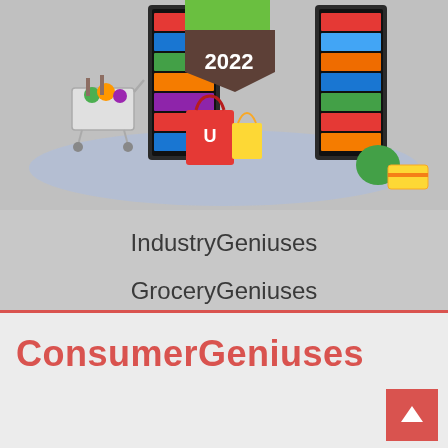[Figure (illustration): Illustrated grocery store scene with shopping cart filled with produce, refrigerator display units with colorful products, shopping bag, and a '2022' label banner in green and brown. Blue-shaded floor ellipse beneath the items.]
IndustryGeniuses
GroceryGeniuses
HealthGeniuses
ConsumerGeniuses